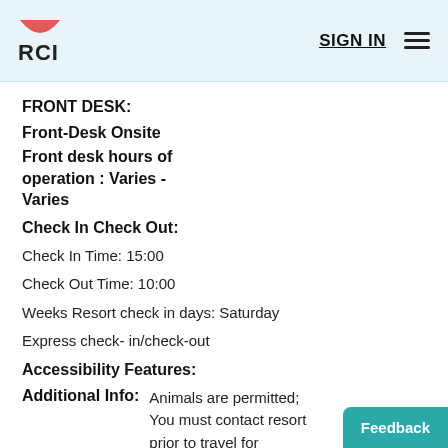RCI | SIGN IN
FRONT DESK:
Front-Desk Onsite
Front desk hours of operation : Varies - Varies
Check In Check Out:
Check In Time: 15:00
Check Out Time: 10:00
Weeks Resort check in days: Saturday
Express check- in/check-out
Accessibility Features:
Additional Info:   Animals are permitted; You must contact resort prior to travel for